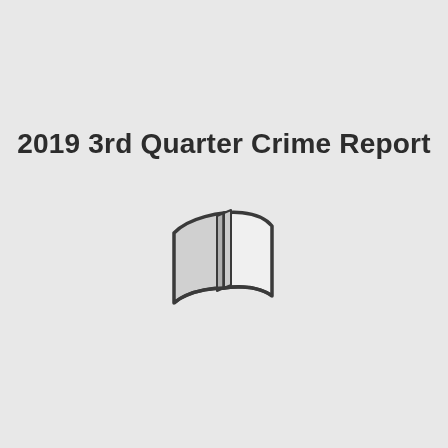2019 3rd Quarter Crime Report
[Figure (illustration): A stylized open book or document icon rendered in dark gray outline with light gray fill, showing two pages splayed open.]